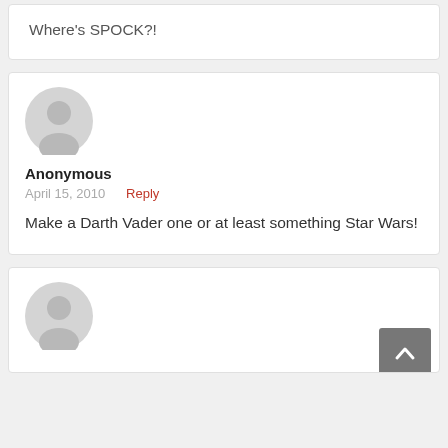Where's SPOCK?!
[Figure (illustration): Anonymous user avatar - grey silhouette of a person on a light grey circle background]
Anonymous
April 15, 2010   Reply
Make a Darth Vader one or at least something Star Wars!
[Figure (illustration): Anonymous user avatar - grey silhouette of a person on a light grey circle background]